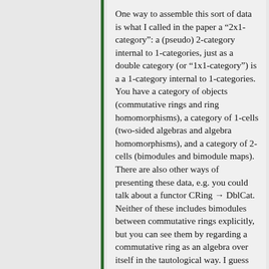One way to assemble this sort of data is what I called in the paper a “2x1-category”: a (pseudo) 2-category internal to 1-categories, just as a double category (or “1x1-category”) is a a 1-category internal to 1-categories. You have a category of objects (commutative rings and ring homomorphisms), a category of 1-cells (two-sided algebras and algebra homomorphisms), and a category of 2-cells (bimodules and bimodule maps). There are also other ways of presenting these data, e.g. you could talk about a functor CRing → DblCat. Neither of these includes bimodules between commutative rings explicitly, but you can see them by regarding a commutative ring as an algebra over itself in the tautological way. I guess you could maybe try to include them